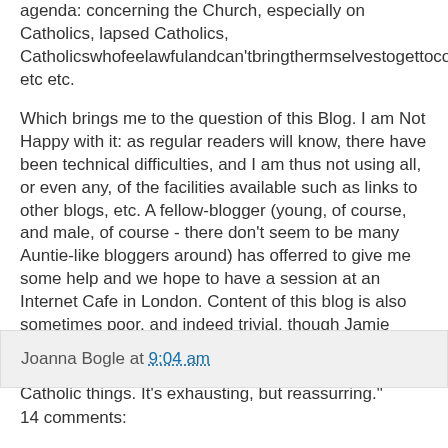agenda: concerning the Church, especially on Catholics, lapsed Catholics, Catholicswhofeelawfulandcan'tbringthermselvestogettoconfession etc etc.
Which brings me to the question of this Blog. I am Not Happy with it: as regular readers will know, there have been technical difficulties, and I am thus not using all, or even any, of the facilities available such as links to other blogs, etc. A fellow-blogger (young, of course, and male, of course - there don't seem to be many Auntie-like bloggers around) has offerred to give me some help and we hope to have a session at an Internet Cafe in London. Content of this blog is also sometimes poor, and indeed trivial, though Jamie insists that the latter is fine :"People like reading about you whizzing about on your bike and enthusing about Catholic things. It's exhausting, but reassurring."
Joanna Bogle at 9:04 am
14 comments: